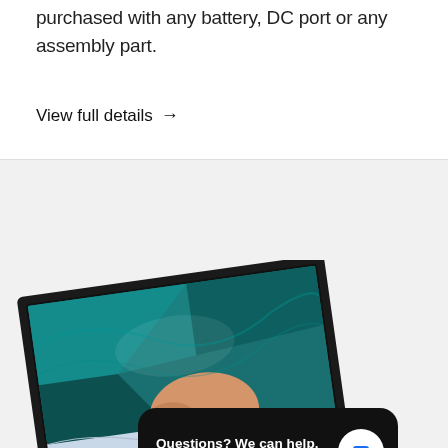purchased with any battery, DC port or any assembly part.
View full details →
[Figure (photo): Laptop computer shown at an angle with a colorful silky fabric image on screen, partially visible at the bottom of the page. A chat widget overlay shows 'Questions? We can help. Chat with us now.' with a blue speech bubble icon on a dark background.]